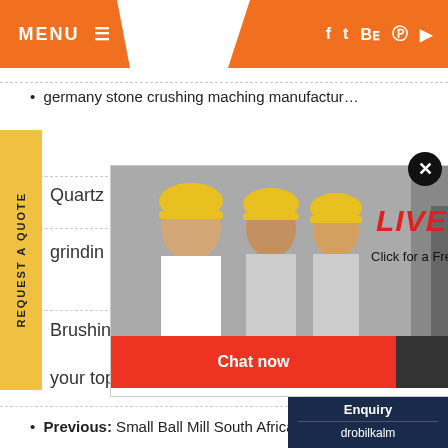MENU ≡  f  t  Be  ⊕  ▶
germany stone crushing maching manufactur…
Quartz
grindin
[Figure (screenshot): Live chat popup with workers in hard hats and a customer service representative. Text: LIVE CHAT, Click for a Free Consultation. Buttons: Chat now (red), Chat later (dark grey). Close button top right.]
Brushing And Deburring Machine
your top choice for new grinders in
[Figure (infographic): Right side panel: Have any requests, click here. Quote button and chevron in orange, Enquiry label, drobilkalm text. Dark navy background.]
Previous: Small Ball Mill South Africa